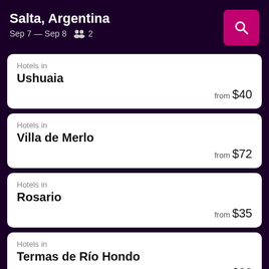Salta, Argentina
Sep 7 — Sep 8  2
Hotels in Ushuaia from $40
Hotels in Villa de Merlo from $72
Hotels in Rosario from $35
Hotels in Termas de Río Hondo from $83
Hotels in La Quiaca